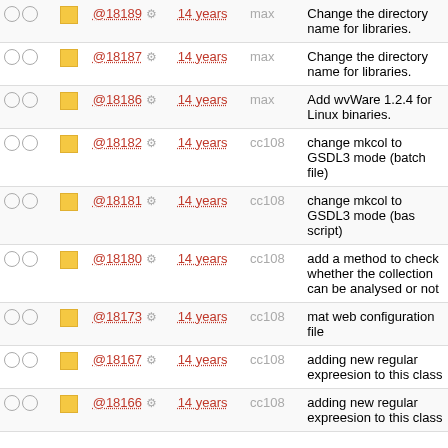|  |  | ID | Age | User | Message |
| --- | --- | --- | --- | --- | --- |
| ○ ○ | □ | @18189 | 14 years | max | Change the directory name for libraries. |
| ○ ○ | □ | @18187 | 14 years | max | Change the directory name for libraries. |
| ○ ○ | □ | @18186 | 14 years | max | Add wvWare 1.2.4 for Linux binaries. |
| ○ ○ | □ | @18182 | 14 years | cc108 | change mkcol to GSDL3 mode (batch file) |
| ○ ○ | □ | @18181 | 14 years | cc108 | change mkcol to GSDL3 mode (bas script) |
| ○ ○ | □ | @18180 | 14 years | cc108 | add a method to check whether the collection can be analysed or not |
| ○ ○ | □ | @18173 | 14 years | cc108 | mat web configuration file |
| ○ ○ | □ | @18167 | 14 years | cc108 | adding new regular expreesion to this class |
| ○ ○ | □ | @18166 | 14 years | cc108 | adding new regular expreesion to this class |